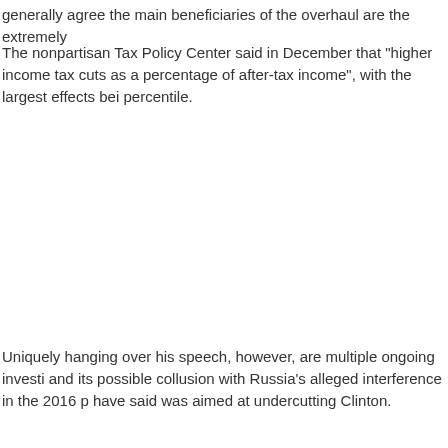generally agree the main beneficiaries of the overhaul are the extremely
The nonpartisan Tax Policy Center said in December that "higher income tax cuts as a percentage of after-tax income", with the largest effects bei percentile.
Uniquely hanging over his speech, however, are multiple ongoing investi and its possible collusion with Russia's alleged interference in the 2016 p have said was aimed at undercutting Clinton.